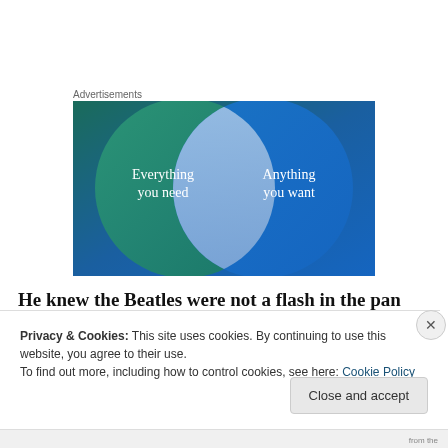Advertisements
[Figure (illustration): Venn diagram advertisement with two overlapping circles on a teal-to-blue gradient background. Left circle (green/teal) contains text 'Everything you need'. Right circle (blue) contains text 'Anything you want'. The overlapping area is a lighter blue-white.]
He knew the Beatles were not a flash in the pan
Privacy & Cookies: This site uses cookies. By continuing to use this website, you agree to their use.
To find out more, including how to control cookies, see here: Cookie Policy
Close and accept